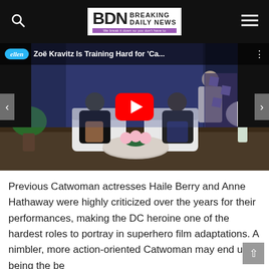Breaking Daily News
[Figure (screenshot): YouTube video thumbnail on The Ellen DeGeneres Show featuring Zoë Kravitz with title 'Zoë Kravitz Is Training Hard for Ca...' and a red YouTube play button in the center.]
Previous Catwoman actresses Haile Berry and Anne Hathaway were highly criticized over the years for their performances, making the DC heroine one of the hardest roles to portray in superhero film adaptations. A nimbler, more action-oriented Catwoman may end up being the be...